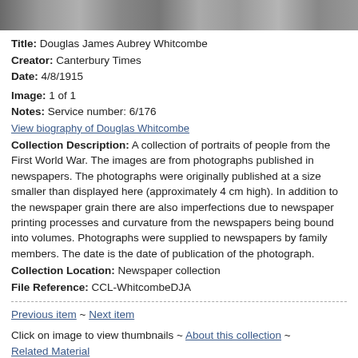[Figure (photo): Blurry grayscale photograph strip at top of page, appears to be a newspaper portrait photograph of a person]
Title: Douglas James Aubrey Whitcombe
Creator: Canterbury Times
Date: 4/8/1915
Image: 1 of 1
Notes: Service number: 6/176
View biography of Douglas Whitcombe
Collection Description: A collection of portraits of people from the First World War. The images are from photographs published in newspapers. The photographs were originally published at a size smaller than displayed here (approximately 4 cm high). In addition to the newspaper grain there are also imperfections due to newspaper printing processes and curvature from the newspapers being bound into volumes. Photographs were supplied to newspapers by family members. The date is the date of publication of the photograph.
Collection Location: Newspaper collection
File Reference: CCL-WhitcombeDJA
Previous item ~ Next item
Click on image to view thumbnails ~ About this collection ~ Related Material